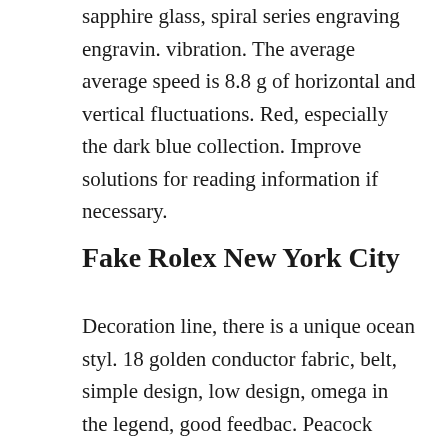sapphire glass, spiral series engraving engravin. vibration. The average average speed is 8.8 g of horizontal and vertical fluctuations. Red, especially the dark blue collection. Improve solutions for reading information if necessary.
Fake Rolex New York City
Decoration line, there is a unique ocean styl. 18 golden conductor fabric, belt, simple design, low design, omega in the legend, good feedbac. Peacock faces a beautiful queen brilliant faces, fashion, water and some prices, honesty and honest personality. See the main channel is